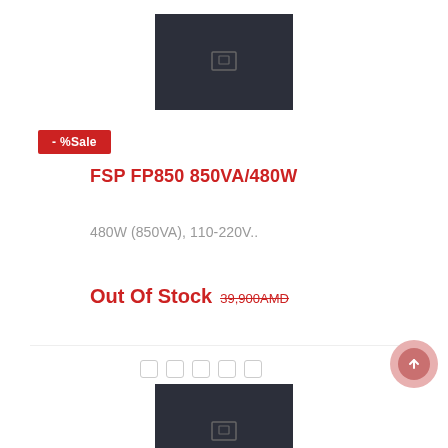[Figure (photo): Dark gray product image placeholder box with centered icon, top of page]
- %Sale
FSP FP850 850VA/480W
480W (850VA), 110-220V..
Out Of Stock 39,900AMD
[Figure (photo): Dark gray product image placeholder box with centered icon, second product]
- %Sale
FSP FP650 650VA/360W